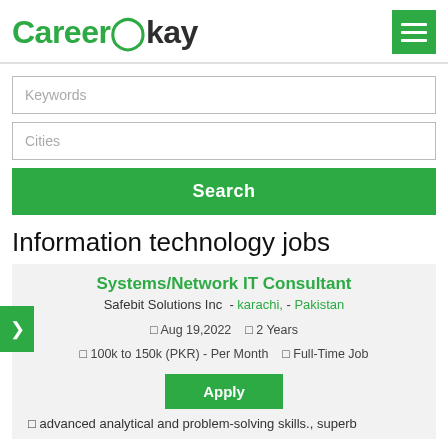CareerOkay
Keywords
Cities
Search
Information technology jobs
Systems/Network IT Consultant
Safebit Solutions Inc - karachi, - Pakistan
Aug 19,2022  2 Years  100k to 150k (PKR) - Per Month  Full-Time Job
Apply
advanced analytical and problem-solving skills., superb